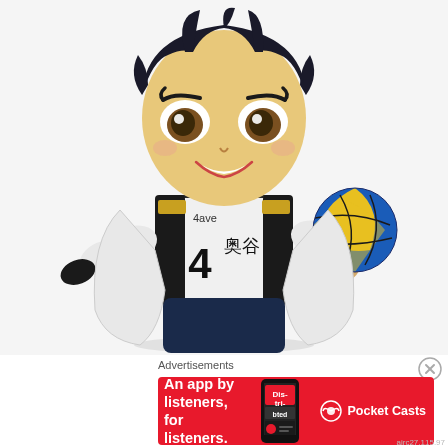[Figure (photo): Nendoroid anime figure of a volleyball player wearing a white and black jersey with number 4 and Japanese characters, holding a blue and yellow volleyball, smiling, chibi style collectible figure on white background]
Advertisements
[Figure (infographic): Pocket Casts advertisement banner with red background. Text reads: An app by listeners, for listeners. Shows a smartphone with the app and the Pocket Casts logo and name on the right.]